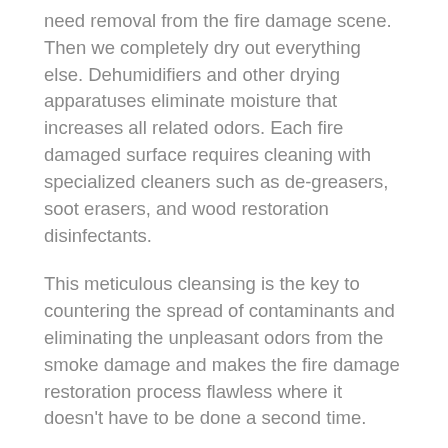need removal from the fire damage scene. Then we completely dry out everything else. Dehumidifiers and other drying apparatuses eliminate moisture that increases all related odors. Each fire damaged surface requires cleaning with specialized cleaners such as de-greasers, soot erasers, and wood restoration disinfectants.
This meticulous cleansing is the key to countering the spread of contaminants and eliminating the unpleasant odors from the smoke damage and makes the fire damage restoration process flawless where it doesn't have to be done a second time.
Fire damage can be challenging to deal with, and you must work with a company that has a solid plan to deal with the residual damage caused by fire. Our restoration method includes eliminating the horrible smoke odors. To remove the origin of the smells, we use a combination of sanitation products, hot...